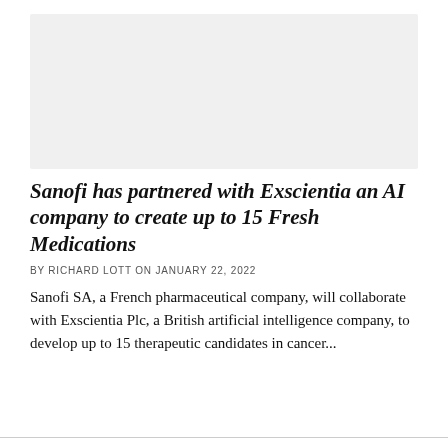[Figure (photo): Placeholder image area (light gray rectangle) at the top of the article page]
Sanofi has partnered with Exscientia an AI company to create up to 15 Fresh Medications
BY RICHARD LOTT ON JANUARY 22, 2022
Sanofi SA, a French pharmaceutical company, will collaborate with Exscientia Plc, a British artificial intelligence company, to develop up to 15 therapeutic candidates in cancer...